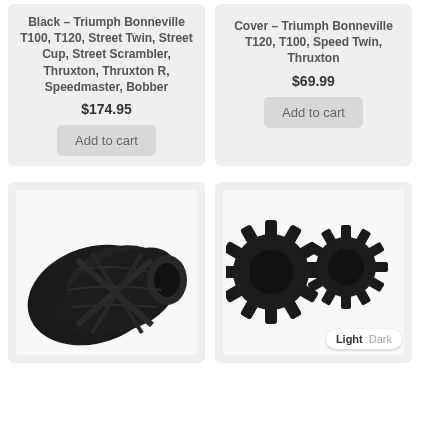Black – Triumph Bonneville T100, T120, Street Twin, Street Cup, Street Scrambler, Thruxton, Thruxton R, Speedmaster, Bobber
$174.95
Add to cart
Cover – Triumph Bonneville T120, T100, Speed Twin, Thruxton
$69.99
Add to cart
[Figure (photo): Black rubber Union Jack emblem / tank badge accessory for Triumph motorcycles]
[Figure (photo): Two black spiked rubber wheel nut covers / engine bolt accessories for Triumph motorcycles]